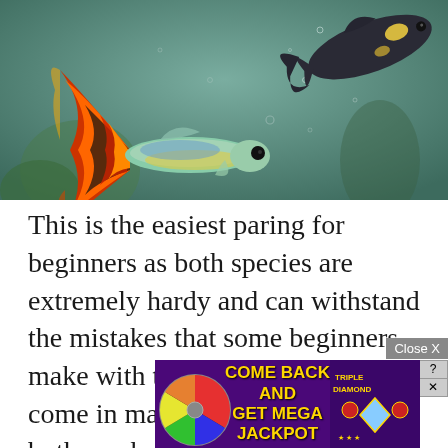[Figure (photo): Close-up underwater photo of two guppy fish: one in the foreground with a large, colorful orange, black, and red fan tail with blue body, and a darker fish in the upper right swimming in a green-tinted aquatic environment.]
This is the easiest paring for beginners as both species are extremely hardy and can withstand the mistakes that some beginners make with their aquarium. Both come in many different colors and both can be paired together... their peac...
[Figure (screenshot): Advertisement overlay with purple background showing a spinning prize wheel on the left, text 'COME BACK AND GET MEGA JACKPOT' in yellow, and Triple Diamond slot machine imagery on the right. Has a Close X button and question mark/close icons.]